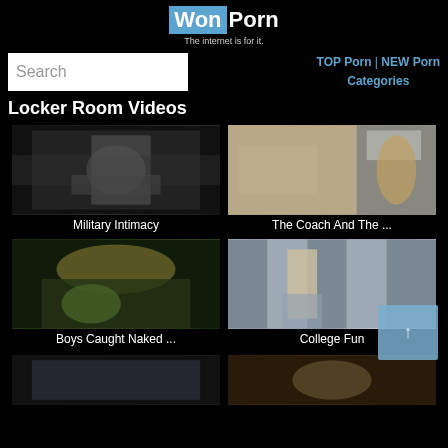WonPorn - The internet is for it.
Search
TOP Porn | NEW Porn
Categories
Locker Room Videos
[Figure (photo): Thumbnail for Military Intimacy video]
Military Intimacy
[Figure (photo): Thumbnail for The Coach And The ... video]
The Coach And The ...
[Figure (photo): Thumbnail for Boys Caught Naked ... video]
Boys Caught Naked ...
[Figure (photo): Thumbnail for College Fun video]
College Fun
[Figure (photo): Bottom row video thumbnails (partial)]